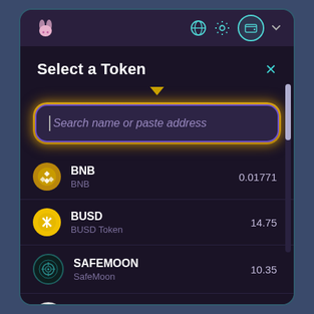Select a Token
Search name or paste address
BNB / BNB — 0.01771
BUSD / BUSD Token — 14.75
SAFEMOON / SafeMoon — 10.35
ALPACA / Alpaca — 0